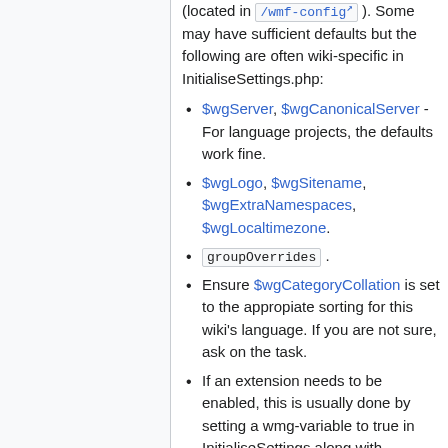(located in /wmf-config ). Some may have sufficient defaults but the following are often wiki-specific in InitialiseSettings.php:
$wgServer, $wgCanonicalServer - For language projects, the defaults work fine.
$wgLogo, $wgSitename, $wgExtraNamespaces, $wgLocaltimezone.
groupOverrides .
Ensure $wgCategoryCollation is set to the appropiate sorting for this wiki's language. If you are not sure, ask on the task.
If an extension needs to be enabled, this is usually done by setting a wmg-variable to true in InitialiseSettings along with